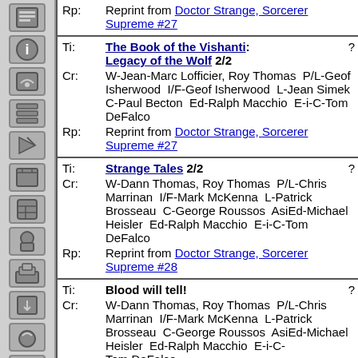Rp: Reprint from Doctor Strange, Sorcerer Supreme #27
Ti: The Book of the Vishanti: Legacy of the Wolf 2/2 ?
Cr: W-Jean-Marc Lofficier, Roy Thomas  P/L-Geof Isherwood  I/F-Geof Isherwood  L-Jean Simek  C-Paul Becton  Ed-Ralph Macchio  E-i-C-Tom DeFalco
Rp: Reprint from Doctor Strange, Sorcerer Supreme #27
Ti: Strange Tales 2/2 ?
Cr: W-Dann Thomas, Roy Thomas  P/L-Chris Marrinan  I/F-Mark McKenna  L-Patrick Brosseau  C-George Roussos  AsiEd-Michael Heisler  Ed-Ralph Macchio  E-i-C-Tom DeFalco
Rp: Reprint from Doctor Strange, Sorcerer Supreme #28
Ti: Blood will tell! ?
Cr: W-Dann Thomas, Roy Thomas  P/L-Chris Marrinan  I/F-Mark McKenna  L-Patrick Brosseau  C-George Roussos  AsiEd-Michael Heisler  Ed-Ralph Macchio  E-i-C-Tom DeFalco